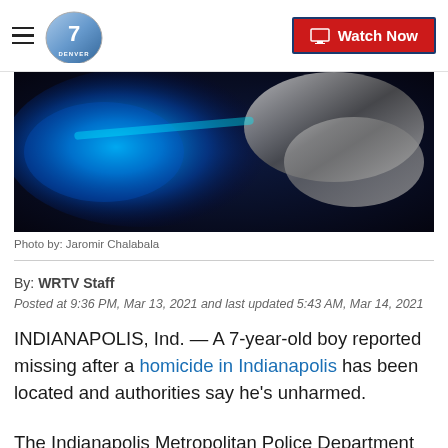Denver 7 — Watch Now
[Figure (photo): Police car blue light close-up, dark background with chrome reflection]
Photo by: Jaromir Chalabala
By: WRTV Staff
Posted at 9:36 PM, Mar 13, 2021 and last updated 5:43 AM, Mar 14, 2021
INDIANAPOLIS, Ind. — A 7-year-old boy reported missing after a homicide in Indianapolis has been located and authorities say he's unharmed.
The Indianapolis Metropolitan Police Department